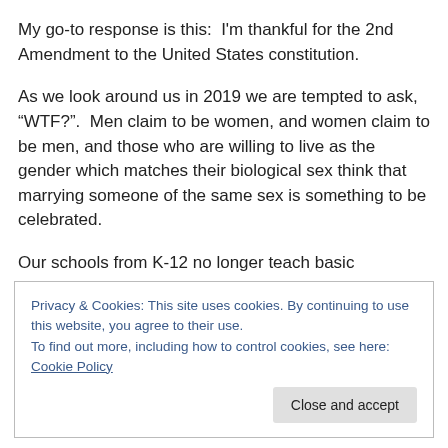My go-to response is this:  I'm thankful for the 2nd Amendment to the United States constitution.
As we look around us in 2019 we are tempted to ask, “WTF?”.  Men claim to be women, and women claim to be men, and those who are willing to live as the gender which matches their biological sex think that marrying someone of the same sex is something to be celebrated.
Our schools from K-12 no longer teach basic academic
Privacy & Cookies: This site uses cookies. By continuing to use this website, you agree to their use.
To find out more, including how to control cookies, see here: Cookie Policy
Close and accept